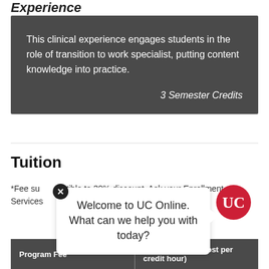Experience
This clinical experience engages students in the role of transition to work specialist, putting content knowledge into practice.
3 Semester Credits
Tuition
*Fee susceptible to 30% discount. Ask your Enrollment Services…
[Figure (screenshot): UC Online chat popup overlay with UC logo and close button. Text reads: 'Welcome to UC Online. What can we help you with today?']
| Program Fee | Part-Time (total cost per credit hour) |
| --- | --- |